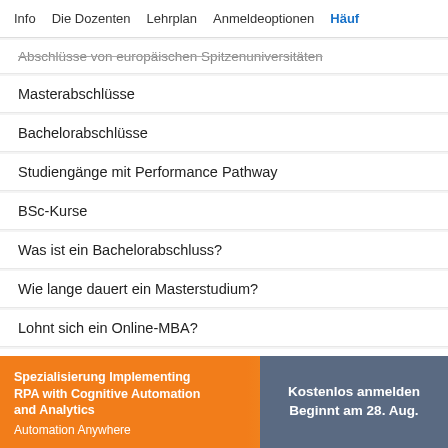Info   Die Dozenten   Lehrplan   Anmeldeoptionen   Häuf
Abschlüsse von europäischen Spitzenuniversitäten
Masterabschlüsse
Bachelorabschlüsse
Studiengänge mit Performance Pathway
BSc-Kurse
Was ist ein Bachelorabschluss?
Wie lange dauert ein Masterstudium?
Lohnt sich ein Online-MBA?
7 Finanzierungsmöglichkeiten für die Graduate School
Alle Zertifikate anzeigen
Spezialisierung Implementing RPA with Cognitive Automation and Analytics
Automation Anywhere
Kostenlos anmelden
Beginnt am 28. Aug.